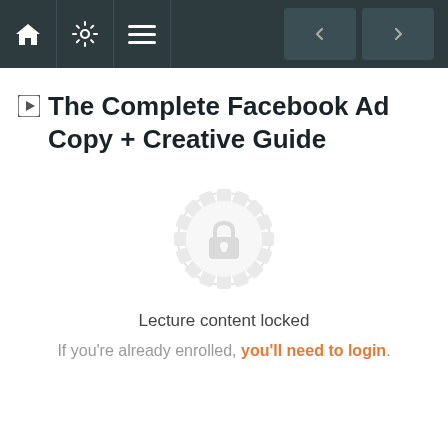Navigation bar with home, settings, menu icons and prev/next buttons
The Complete Facebook Ad Copy + Creative Guide
[Figure (illustration): A circular badge/seal icon with a padlock in the center, rendered in light gray, indicating locked content]
Lecture content locked
If you're already enrolled, you'll need to login.